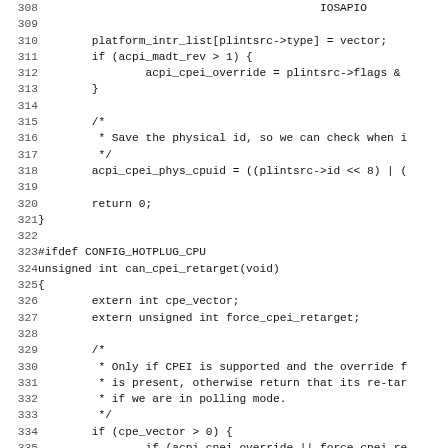[Figure (screenshot): Source code listing lines 308-339 in C, showing platform interrupt list assignment, CPEI override logic, acpi_cpei_phys_cpuid assignment, and can_cpei_retarget function definition with conditional return logic.]